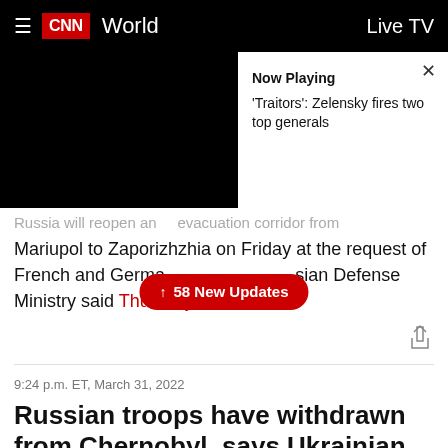≡  CNN  World  Live TV
[Figure (screenshot): CNN video player area showing dark/black video with 'Now Playing' overlay popup displaying: 'Traitors': Zelensky fires two top generals. Close button (X) visible.]
Russia will reopen an evacuation corridor from Mariupol to Zaporizhzhia on Friday at the request of French and German [overlay] Russian Defense Ministry said Thursday.
↑ 58 New Updates
9:24 p.m. ET, March 31, 2022
Russian troops have withdrawn from Chernobyl, says Ukrainian nuclear operator
From CNN's Nathan Hodge